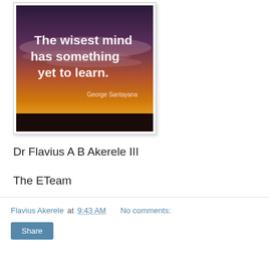[Figure (photo): Inspirational quote image with sunset sky background. Text reads: 'The wisest mind has something yet to learn. George Santayana']
Dr Flavius A B Akerele III
The ETeam
Flavius Akerele at 9:43 AM   No comments:   Share